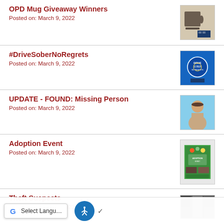OPD Mug Giveaway Winners
Posted on: March 9, 2022
#DriveSoberNoRegrets
Posted on: March 9, 2022
UPDATE - FOUND: Missing Person
Posted on: March 9, 2022
Adoption Event
Posted on: March 9, 2022
Theft Suspects
Posted on: March 8, 2022